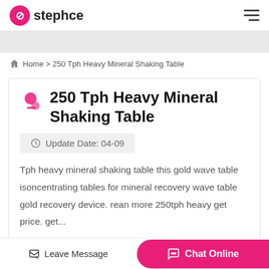stephce
Home > 250 Tph Heavy Mineral Shaking Table
250 Tph Heavy Mineral Shaking Table
Update Date: 04-09
Tph heavy mineral shaking table this gold wave table isoncentrating tables for mineral recovery wave table gold recovery device. rean more 250tph heavy get price. get...